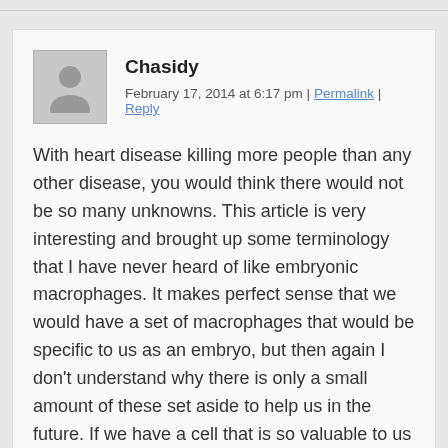Chasidy
February 17, 2014 at 6:17 pm | Permalink | Reply
With heart disease killing more people than any other disease, you would think there would not be so many unknowns. This article is very interesting and brought up some terminology that I have never heard of like embryonic macrophages. It makes perfect sense that we would have a set of macrophages that would be specific to us as an embryo, but then again I don't understand why there is only a small amount of these set aside to help us in the future. If we have a cell that is so valuable to us and could help us heal at a more advanced rate with few disadvantages you would think our body would have produced a lot more or be able to produce as much as needed.